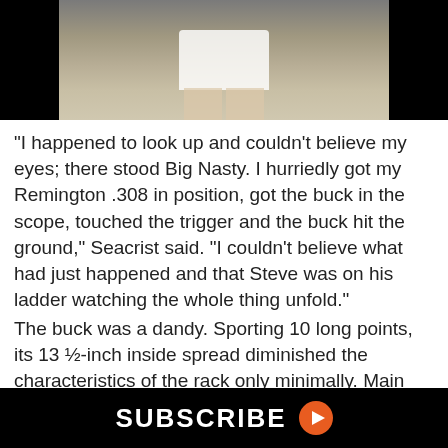[Figure (photo): Top portion of a video screenshot showing a person in white shorts standing, with black bars on either side indicating a video player interface.]
“I happened to look up and couldn’t believe my eyes; there stood Big Nasty. I hurriedly got my Remington .308 in position, got the buck in the scope, touched the trigger and the buck hit the ground,” Seacrist said. “I couldn’t believe what had just happened and that Steve was on his ladder watching the whole thing unfold.”
The buck was a dandy. Sporting 10 long points, its 13 ½-inch inside spread diminished the characteristics of the rack only minimally. Main beams were more than 22 inches each, with G2s over 9 inches and G3s exceeding 10 inches. Bases were 5 inches in circumference, and the buck weighed 225 pounds.
SUBSCRIBE ▶